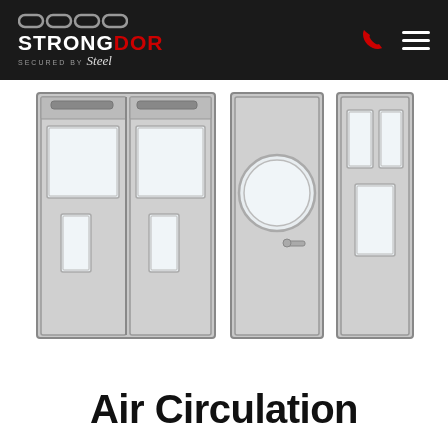STRONGDOR - Secured by Steel
[Figure (illustration): Three steel door illustrations: a double door with large square vision panels and lower rectangular vision panels, a single door with a circular porthole window and lever handle, and a single door with two tall rectangular vision panels and a lower rectangular panel.]
Air Circulation